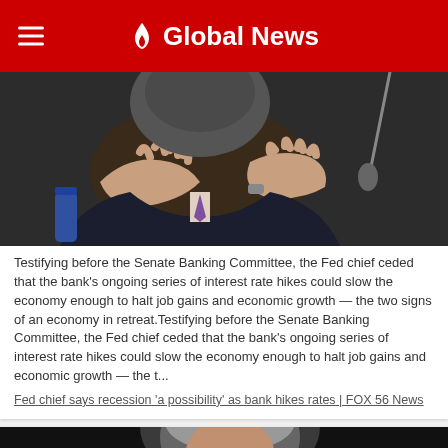Global News
[Figure (photo): Man in suit testifying before a committee, hands gesturing with microphone in background]
Testifying before the Senate Banking Committee, the Fed chief ceded that the bank's ongoing series of interest rate hikes could slow the economy enough to halt job gains and economic growth — the two signs of an economy in retreat.Testifying before the Senate Banking Committee, the Fed chief ceded that the bank's ongoing series of interest rate hikes could slow the economy enough to halt job gains and economic growth — the t...
Fed chief says recession 'a possibility' as bank hikes rates | FOX 56 News
[Figure (photo): Partial image of a person with grey hair, partially visible at bottom of page]